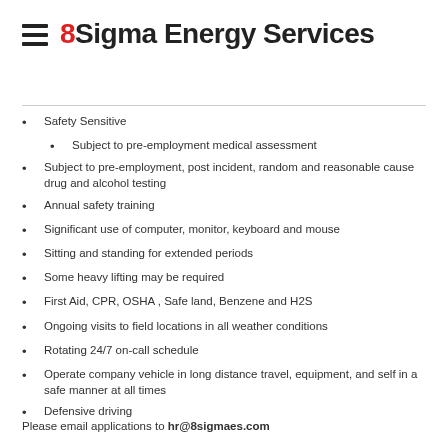8Sigma Energy Services
Safety Sensitive
Subject to pre-employment medical assessment
Subject to pre-employment, post incident, random and reasonable cause drug and alcohol testing
Annual safety training
Significant use of computer, monitor, keyboard and mouse
Sitting and standing for extended periods
Some heavy lifting may be required
First Aid, CPR, OSHA , Safe land, Benzene and H2S
Ongoing visits to field locations in all weather conditions
Rotating 24/7 on-call schedule
Operate company vehicle in long distance travel, equipment, and self in a safe manner at all times
Defensive driving
Please email applications to hr@8sigmaes.com